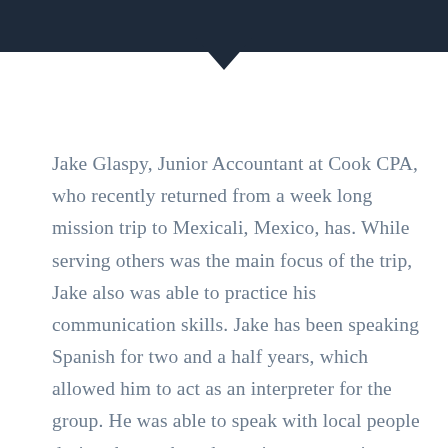[Figure (other): Dark navy header bar with a downward-pointing triangle/arrow shape in the center bottom]
Jake Glaspy, Junior Accountant at Cook CPA, who recently returned from a week long mission trip to Mexicali, Mexico, has. While serving others was the main focus of the trip, Jake also was able to practice his communication skills. Jake has been speaking Spanish for two and a half years, which allowed him to act as an interpreter for the group. He was able to speak with local people during the week to determine community needs such as clothing, food, or prayer. In addition to assisting